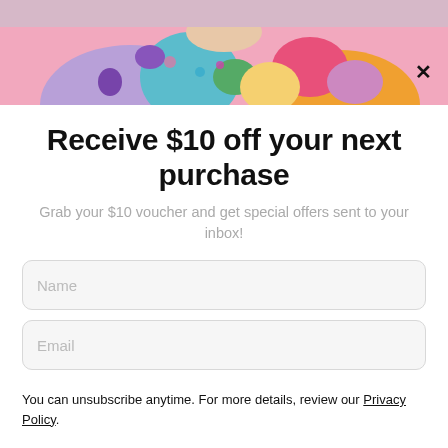to give you plenty of ease around your curves, and not hug
[Figure (photo): Person wearing a colorful floral/abstract print outfit, pink background, partial view showing torso and lower face]
Receive $10 off your next purchase
Grab your $10 voucher and get special offers sent to your inbox!
Name
Email
You can unsubscribe anytime. For more details, review our Privacy Policy.